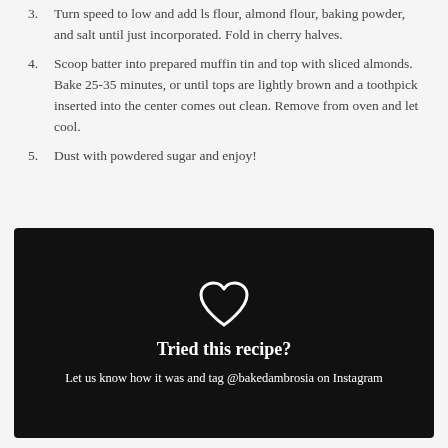3. Turn speed to low and add ls flour, almond flour, baking powder, and salt until just incorporated. Fold in cherry halves.
4. Scoop batter into prepared muffin tin and top with sliced almonds. Bake 25-35 minutes, or until tops are lightly brown and a toothpick inserted into the center comes out clean. Remove from oven and let cool.
5. Dust with powdered sugar and enjoy!
[Figure (infographic): Black box with a white outlined heart icon at top, bold white text 'Tried this recipe?' and smaller white text 'Let us know how it was and tag @bakedambrosia on Instagram']